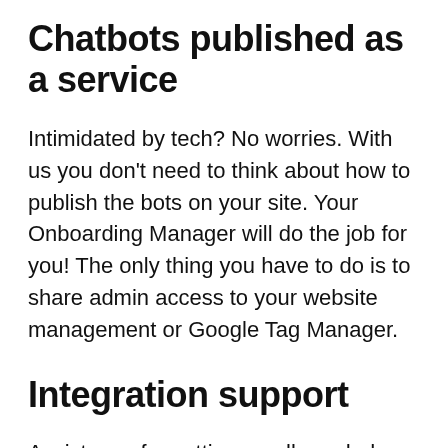Chatbots published as a service
Intimidated by tech? No worries. With us you don’t need to think about how to publish the bots on your site. Your Onboarding Manager will do the job for you! The only thing you have to do is to share admin access to your website management or Google Tag Manager.
Integration support
Assistance for setting up all needed integrations to your CRM, email, analytics tools & marketing stack. Get